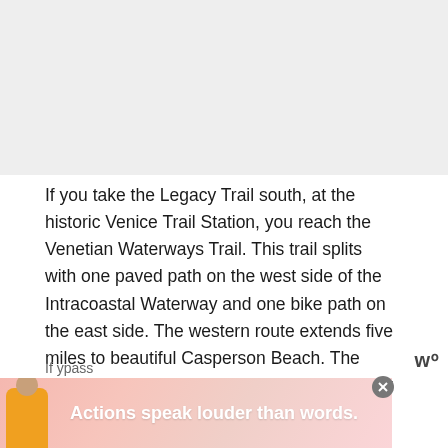[Figure (photo): Light gray placeholder image area at top of page]
If you take the Legacy Trail south, at the historic Venice Trail Station, you reach the Venetian Waterways Trail. This trail splits with one paved path on the west side of the Intracoastal Waterway and one bike path on the east side. The western route extends five miles to beautiful Casperson Beach. The eastern route ends in four miles at Shamrock Park and Nature Center.
[Figure (infographic): Advertisement banner at bottom: pink/coral gradient background, figure of person in yellow jacket at left, bold white text reading 'Actions speak louder than words.']
If y...pass